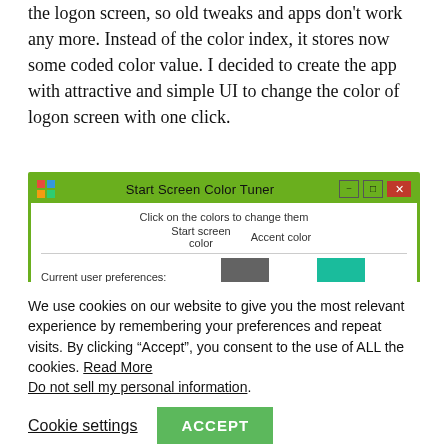the logon screen, so old tweaks and apps don't work any more. Instead of the color index, it stores now some coded color value. I decided to create the app with attractive and simple UI to change the color of logon screen with one click.
[Figure (screenshot): Start Screen Color Tuner application window showing a color selector UI with 'Click on the colors to change them', 'Start screen color' and 'Accent color' columns, with 'Current user preferences:' row showing a gray swatch and a teal swatch, and 'Logon Screen color:' row showing an orange swatch.]
We use cookies on our website to give you the most relevant experience by remembering your preferences and repeat visits. By clicking “Accept”, you consent to the use of ALL the cookies. Read More
Do not sell my personal information.
Cookie settings   ACCEPT